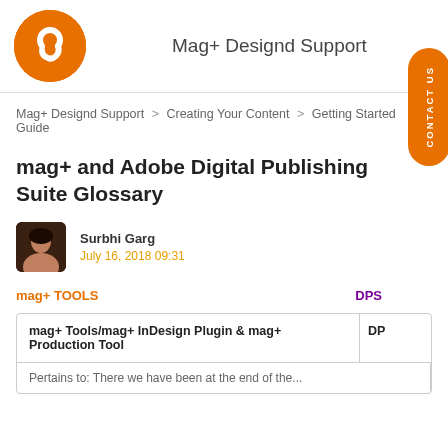Mag+ Designd Support
Mag+ Designd Support > Creating Your Content > Getting Started Guide
mag+ and Adobe Digital Publishing Suite Glossary
Surbhi Garg
July 16, 2018 09:31
mag+ TOOLS
| mag+ Tools/mag+ InDesign Plugin & mag+ Production Tool | DP |
| --- | --- |
|  |  |